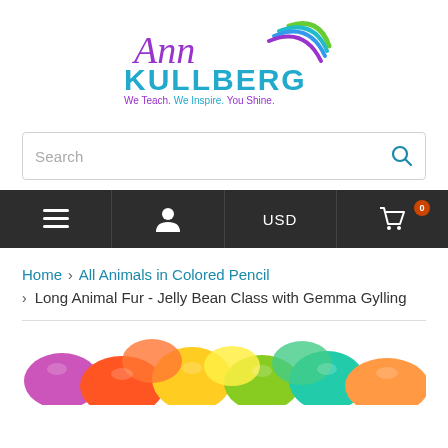[Figure (logo): Ann Kullberg logo with colorful swoosh, purple script 'Ann', teal bold 'KULLBERG', tagline 'We Teach. We Inspire. You Shine.' in purple/teal/purple]
Search
[Figure (infographic): Dark navigation bar with hamburger menu, user icon, USD currency selector, and shopping cart with 0 badge]
Home > All Animals in Colored Pencil > Long Animal Fur - Jelly Bean Class with Gemma Gylling
[Figure (photo): Colorful jelly beans in pink, orange, yellow, green, teal colors partially visible at bottom of page]